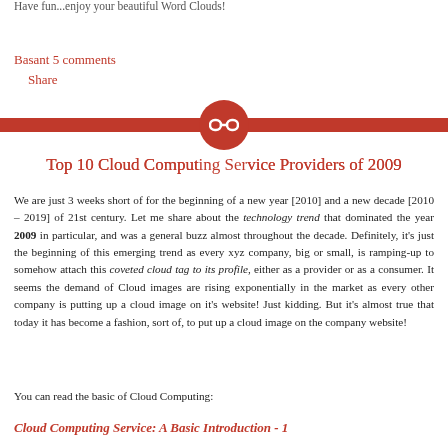Have fun...enjoy your beautiful Word Clouds!
Basant 5 comments
Share
Top 10 Cloud Computing Service Providers of 2009
We are just 3 weeks short of for the beginning of a new year [2010] and a new decade [2010 – 2019] of 21st century. Let me share about the technology trend that dominated the year 2009 in particular, and was a general buzz almost throughout the decade. Definitely, it's just the beginning of this emerging trend as every xyz company, big or small, is ramping-up to somehow attach this coveted cloud tag to its profile, either as a provider or as a consumer. It seems the demand of Cloud images are rising exponentially in the market as every other company is putting up a cloud image on it's website! Just kidding. But it's almost true that today it has become a fashion, sort of, to put up a cloud image on the company website!
You can read the basic of Cloud Computing:
Cloud Computing Service: A Basic Introduction - 1